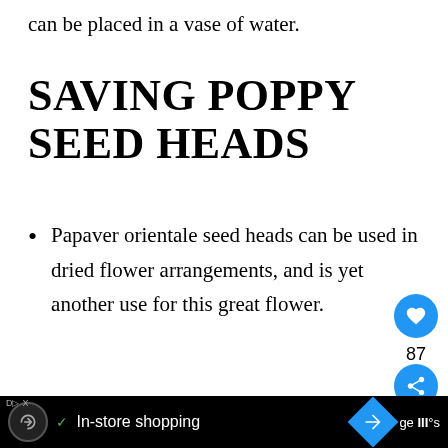can be placed in a vase of water.
SAVING POPPY SEED HEADS
Papaver orientale seed heads can be used in dried flower arrangements, and is yet another use for this great flower.
The pods are fairly large and
In-store shopping